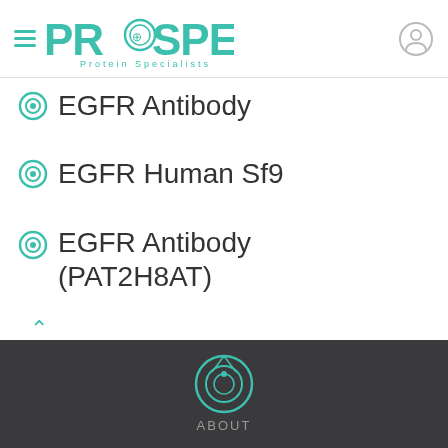ProSpec - Protein Specialists
EGFR Antibody
EGFR Human Sf9
EGFR Antibody (PAT2H8AT)
BACK TO TOP
[Figure (logo): LiveChat logo in speech bubble]
[Figure (logo): ProSpec logo icon in footer]
ABOUT